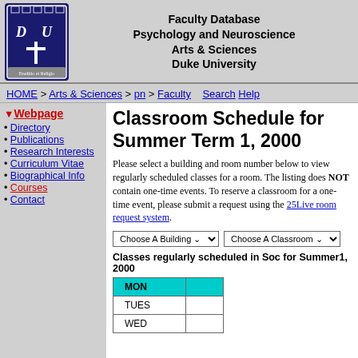Faculty Database
Psychology and Neuroscience
Arts & Sciences
Duke University
HOME > Arts & Sciences > pn > Faculty  Search  Help
▼ Webpage
• Directory
• Publications
• Research Interests
• Curriculum Vitae
• Biographical Info
• Courses
• Contact
Classroom Schedule for Summer Term 1, 2000
Please select a building and room number below to view regularly scheduled classes for a room. The listing does NOT contain one-time events. To reserve a classroom for a one-time event, please submit a request using the 25Live room request system.
Classes regularly scheduled in Soc for Summer1, 2000
| MON |  |
| --- | --- |
| TUES |  |
| WED |  |